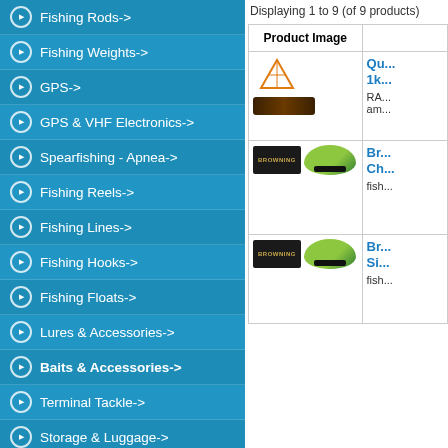Fishing Rods->
Fishing Weights->
GPS->
GPS & VHF Electronics->
Spearfishing - Apnea->
Fishing Reels->
Fishing Lines->
Fishing Hooks->
Fishing Floats->
Lures & Accessories->
Baits & Accessories->
Terminal Tackle->
Storage & Luggage->
Seatbox & Accessories->
Keep Nets & Landing Nets & Mats & Gaffs->
Displaying 1 to 9 (of 9 products)
| Product Image |  |
| --- | --- |
| [Artico logo + bait image] | Qu... 1k... RA... am... |
| [Browning logo + bait image] | Br... Ch... fish... |
| [Browning logo + bait image] | Br... Si... fish... |